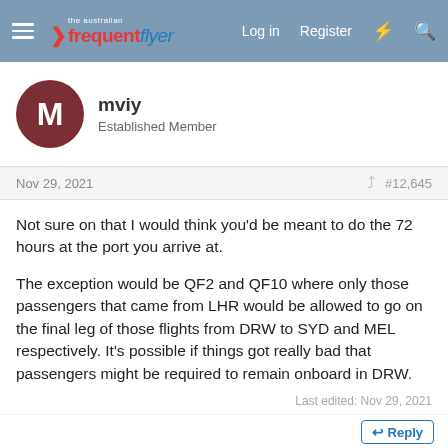Australian Frequent Flyer — Log in  Register
mviy
Established Member
Nov 29, 2021  #12,645
Not sure on that I would think you'd be meant to do the 72 hours at the port you arrive at.

The exception would be QF2 and QF10 where only those passengers that came from LHR would be allowed to go on the final leg of those flights from DRW to SYD and MEL respectively. It's possible if things got really bad that passengers might be required to remain onboard in DRW.
Last edited: Nov 29, 2021
Reply
Ade